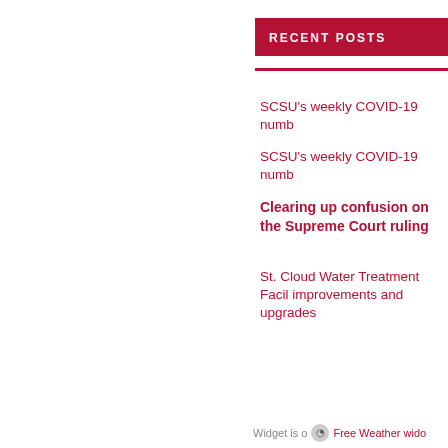RECENT POSTS
SCSU's weekly COVID-19 numb
SCSU's weekly COVID-19 numb
Clearing up confusion on the Supreme Court ruling
St. Cloud Water Treatment Facil improvements and upgrades
Widget is o Free Weather wido